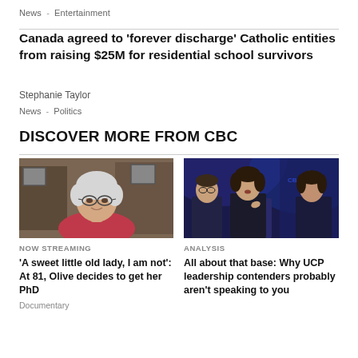News  -  Entertainment
Canada agreed to 'forever discharge' Catholic entities from raising $25M for residential school survivors
Stephanie Taylor
News  -  Politics
DISCOVER MORE FROM CBC
[Figure (photo): Elderly woman with white hair and glasses wearing a pink shirt, seated indoors]
NOW STREAMING
'A sweet little old lady, I am not': At 81, Olive decides to get her PhD
Documentary
[Figure (photo): Three people at podiums during a political event, with blue lighting in the background. A sign reads 'SMITH'.]
ANALYSIS
All about that base: Why UCP leadership contenders probably aren't speaking to you